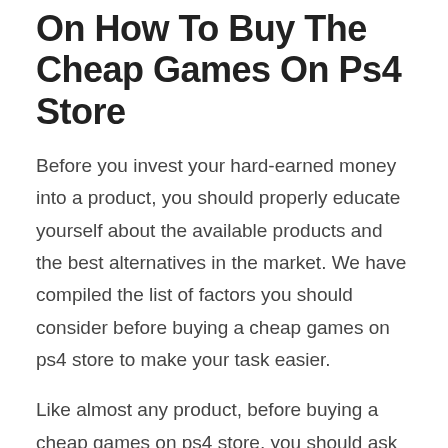On How To Buy The Cheap Games On Ps4 Store
Before you invest your hard-earned money into a product, you should properly educate yourself about the available products and the best alternatives in the market. We have compiled the list of factors you should consider before buying a cheap games on ps4 store to make your task easier.
Like almost any product, before buying a cheap games on ps4 store, you should ask yourself these few questions:
How reputable are cheap games on ps4 store in comparison to market competitors?